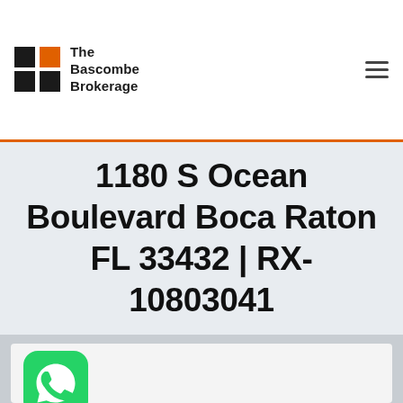[Figure (logo): The Bascombe Brokerage logo with grid of squares (black and orange) and company name text]
1180 S Ocean Boulevard Boca Raton FL 33432 | RX-10803041
[Figure (logo): WhatsApp green icon with phone handset in speech bubble]